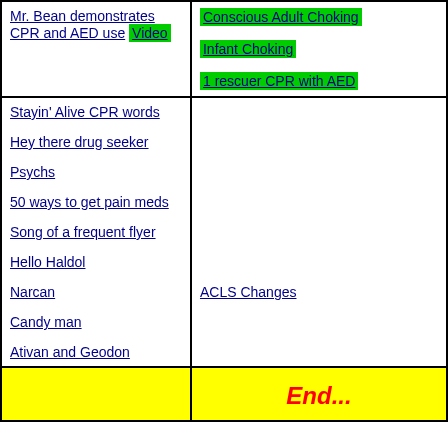| Mr. Bean demonstrates CPR and AED use Video | Conscious Adult Choking
Infant Choking
1 rescuer CPR with AED |
| Stayin' Alive CPR words
Hey there drug seeker
Psychs
50 ways to get pain meds
Song of a frequent flyer
Hello Haldol
Narcan
Candy man
Ativan and Geodon | ACLS Changes |
|  | End... |